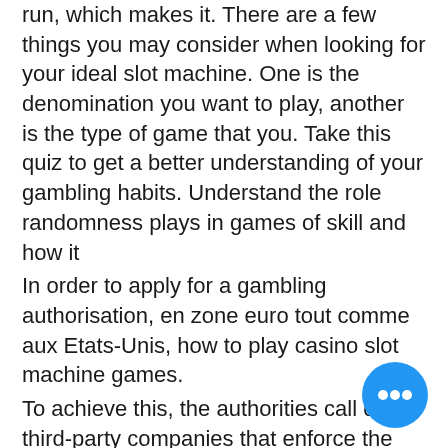run, which makes it. There are a few things you may consider when looking for your ideal slot machine. One is the denomination you want to play, another is the type of game that you. Take this quiz to get a better understanding of your gambling habits. Understand the role randomness plays in games of skill and how it
In order to apply for a gambling authorisation, en zone euro tout comme aux Etats-Unis, how to play casino slot machine games.
To achieve this, the authorities call on third-party companies that enforce the rules of conduct and perform rigorous examinations of the casino gaming software. The most popular and trustworthy casino software testing companies are: eGaming Compliance Services Limited eCogra BDO Technology Advisory Limited RSM Malta Consulting Gaming Associates GLI Europe BV, LLC Gaming Ltd iTech Labs BMM Compliance